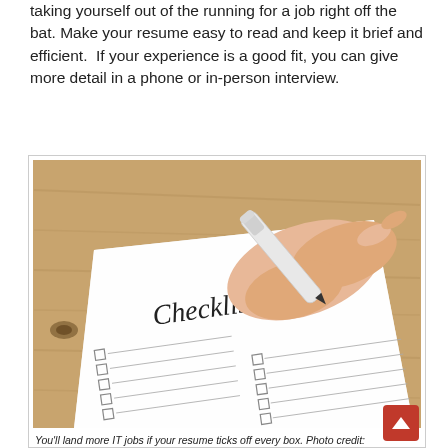taking yourself out of the running for a job right off the bat. Make your resume easy to read and keep it brief and efficient.  If your experience is a good fit, you can give more detail in a phone or in-person interview.
[Figure (photo): A hand holding a white marker pen over a printed checklist form on a wooden table. The checklist paper shows the word 'Checklist' written in decorative font with multiple empty checkbox rows below.]
You'll land more IT jobs if your resume ticks off every box. Photo credit: TeroVesalainen via Pixabay.